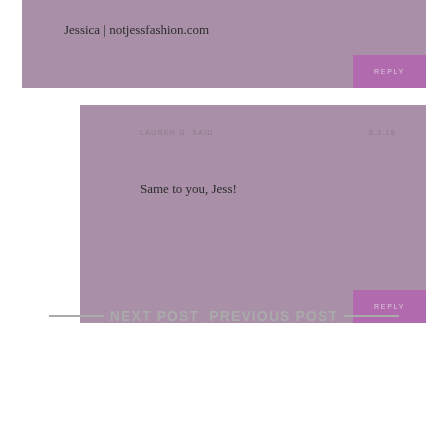Jessica | notjessfashion.com
REPLY
LAUREN G. SAID
8.1.18
Same to you, Jess!
REPLY
← NEXT POST   PREVIOUS POST →